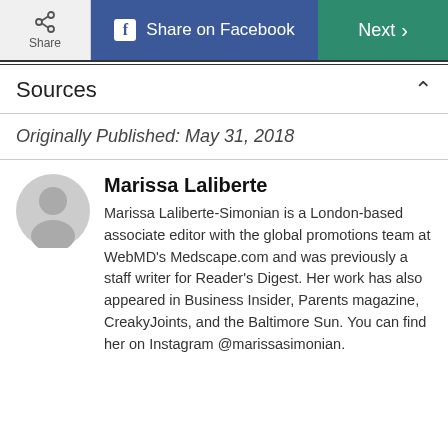Share | Share on Facebook | Next
Sources
Originally Published: May 31, 2018
Marissa Laliberte
Marissa Laliberte-Simonian is a London-based associate editor with the global promotions team at WebMD's Medscape.com and was previously a staff writer for Reader's Digest. Her work has also appeared in Business Insider, Parents magazine, CreakyJoints, and the Baltimore Sun. You can find her on Instagram @marissasimonian.